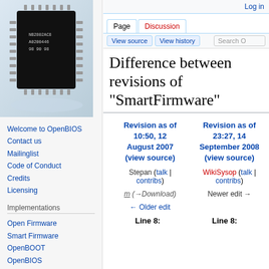[Figure (photo): Photo of a black IC chip (integrated circuit) on a light blue/white background]
Welcome to OpenBIOS
Contact us
Mailinglist
Code of Conduct
Credits
Licensing
Implementations
Open Firmware
Smart Firmware
OpenBOOT
OpenBIOS
SLOF
Log in
Difference between revisions of "SmartFirmware"
| Revision as of 10:50, 12 August 2007 (view source) | Revision as of 23:27, 14 September 2008 (view source) |
| --- | --- |
| Stepan (talk | contribs) | WikiSysop (talk | contribs) |
| m (→Download) | Newer edit → |
| ← Older edit |  |
Line 8:	Line 8: